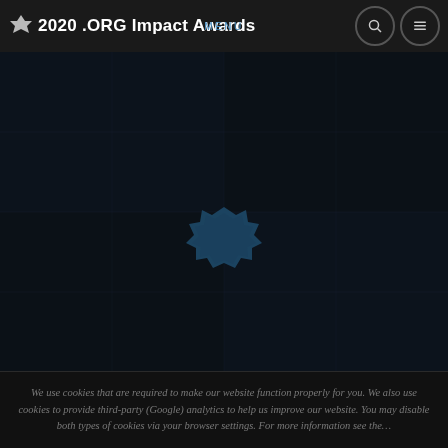2020 .ORG Impact Awards
[Figure (photo): Dark hero image background with a teal/dark-blue star-burst or badge shape centered in the image, overlaid on a very dark near-black background with subtle grid or photo texture]
We use cookies that are required to make our website function properly for you. We also use cookies to provide third-party (Google) analytics to help us improve our website. You may disable both types of cookies via your browser settings. For more information see the …